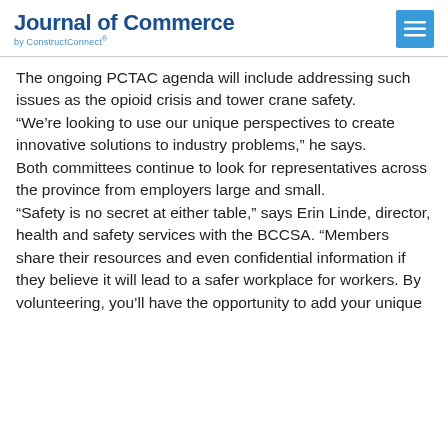Journal of Commerce by ConstructConnect®
The ongoing PCTAC agenda will include addressing such issues as the opioid crisis and tower crane safety.
“We’re looking to use our unique perspectives to create innovative solutions to industry problems,” he says.
Both committees continue to look for representatives across the province from employers large and small.
“Safety is no secret at either table,” says Erin Linde, director, health and safety services with the BCCSA. “Members share their resources and even confidential information if they believe it will lead to a safer workplace for workers. By volunteering, you’ll have the opportunity to add your unique